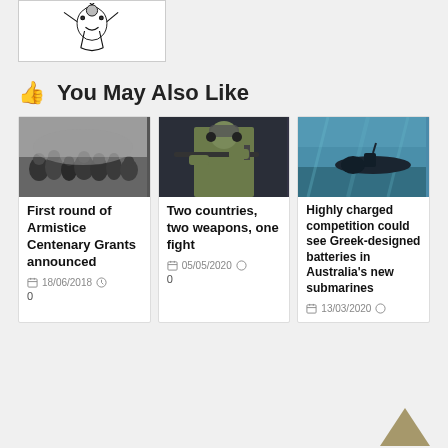[Figure (logo): Heraldic logo/crest illustration in black and white inside a white bordered box]
You May Also Like
[Figure (photo): Black and white historical photo of soldiers crowded together in WWI]
First round of Armistice Centenary Grants announced
18/06/2018  0
[Figure (photo): Colour photo of a soldier in camouflage gear aiming a rifle with headset on]
Two countries, two weapons, one fight
05/05/2020  0
[Figure (photo): Underwater photo of a dark submarine from below]
Highly charged competition could see Greek-designed batteries in Australia's new submarines
13/03/2020